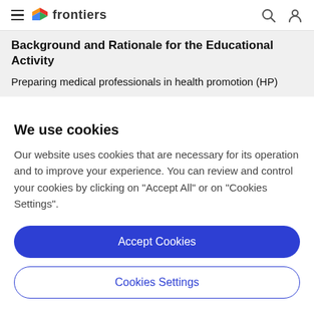frontiers
Background and Rationale for the Educational Activity
Preparing medical professionals in health promotion (HP)
We use cookies
Our website uses cookies that are necessary for its operation and to improve your experience. You can review and control your cookies by clicking on "Accept All" or on "Cookies Settings".
Accept Cookies
Cookies Settings